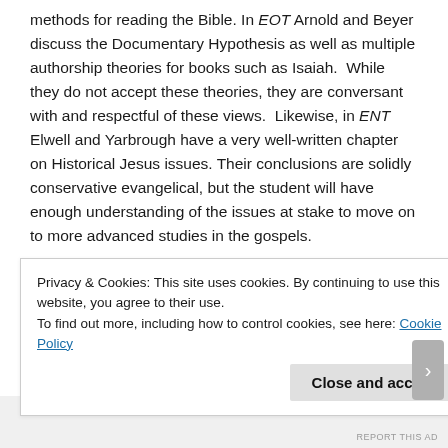methods for reading the Bible. In EOT Arnold and Beyer discuss the Documentary Hypothesis as well as multiple authorship theories for books such as Isaiah. While they do not accept these theories, they are conversant with and respectful of these views. Likewise, in ENT Elwell and Yarbrough have a very well-written chapter on Historical Jesus issues. Their conclusions are solidly conservative evangelical, but the student will have enough understanding of the issues at stake to move on to more advanced studies in the gospels.
Both books are richly illustrated and have many side-bars and charts to help the student manage the information presented in the chapters. Some of the pictures in EOT are not very high...
Privacy & Cookies: This site uses cookies. By continuing to use this website, you agree to their use.
To find out more, including how to control cookies, see here: Cookie Policy
Advertisements